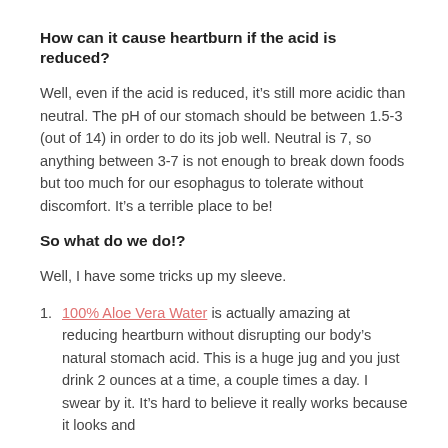How can it cause heartburn if the acid is reduced?
Well, even if the acid is reduced, it’s still more acidic than neutral. The pH of our stomach should be between 1.5-3 (out of 14) in order to do its job well. Neutral is 7, so anything between 3-7 is not enough to break down foods but too much for our esophagus to tolerate without discomfort. It’s a terrible place to be!
So what do we do!?
Well, I have some tricks up my sleeve.
100% Aloe Vera Water is actually amazing at reducing heartburn without disrupting our body’s natural stomach acid. This is a huge jug and you just drink 2 ounces at a time, a couple times a day. I swear by it. It’s hard to believe it really works because it looks and